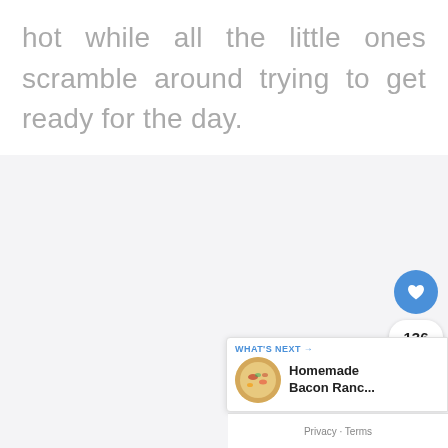hot while all the little ones scramble around trying to get ready for the day.
[Figure (screenshot): UI overlay with heart/like button (blue circle with heart icon), count bubble showing 136, share button (white circle with share icon), a 'What's Next' card showing 'Homemade Bacon Ranc...' with a food thumbnail, and a Privacy · Terms footer bar.]